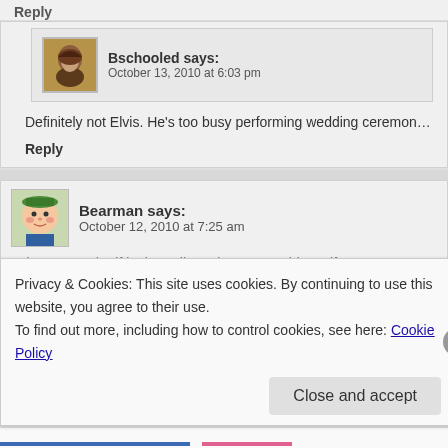Reply
Bschooled says: October 13, 2010 at 6:03 pm
Definitely not Elvis. He’s too busy performing wedding ceremon…
Reply
Bearman says: October 12, 2010 at 7:25 am
I always wonder if in the police reinactment videos, if someone ever d…
Privacy & Cookies: This site uses cookies. By continuing to use this website, you agree to their use.
To find out more, including how to control cookies, see here: Cookie Policy
Close and accept